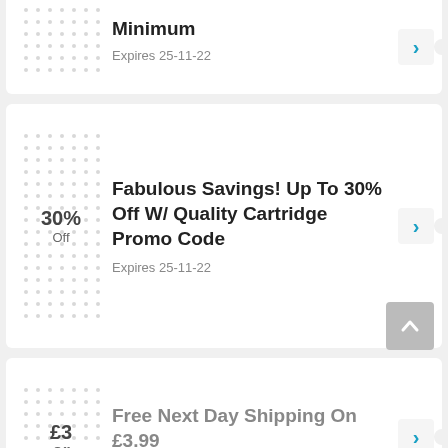Cartridge Order With Minimum
Expires 25-11-22
Fabulous Savings! Up To 30% Off W/ Quality Cartridge Promo Code
30% Off
Expires 25-11-22
Free Next Day Shipping On £3.99
£3 Off
Expired 7-8-22